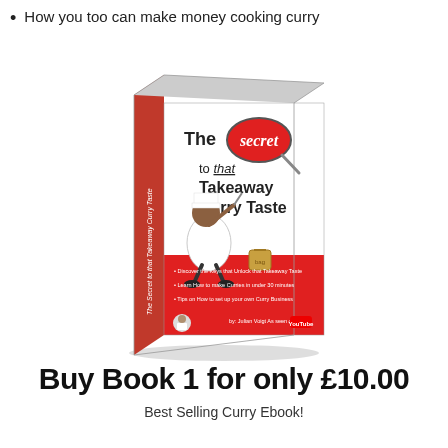How you too can make money cooking curry
[Figure (illustration): 3D book cover illustration of 'The Secret to that Takeaway Curry Taste' by Julian Voigt, showing a cartoon chef bear holding a magnifying glass over a red badge reading 'secret', with bullet points on the back cover and a YouTube logo.]
Buy Book 1 for only £10.00
Best Selling Curry Ebook!